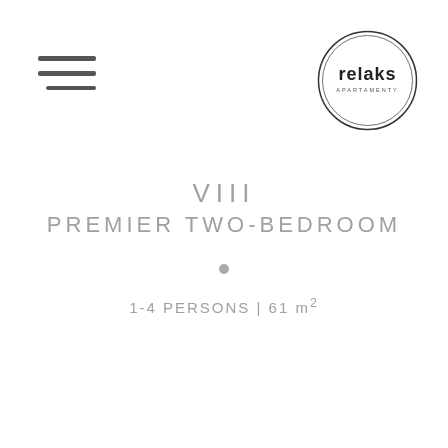[Figure (logo): Relaks Apartamenty logo: circular border with 'relaks' text in stylized font and 'APARTAMENTY' subtitle below, positioned top right]
[Figure (other): Hamburger menu icon (three horizontal lines) positioned top left]
VIII
PREMIER TWO-BEDROOM
1-4 PERSONS | 61 m²